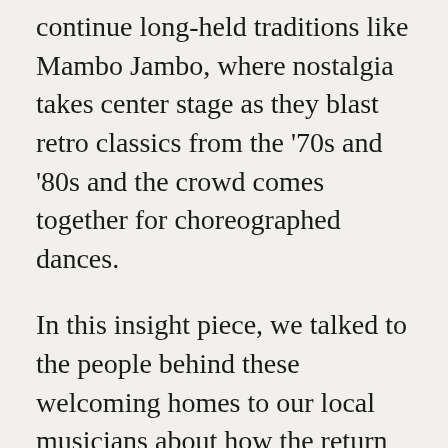continue long-held traditions like Mambo Jambo, where nostalgia takes center stage as they blast retro classics from the '70s and '80s and the crowd comes together for choreographed dances.
In this insight piece, we talked to the people behind these welcoming homes to our local musicians about how the return of live music has been coming along, and what aficionados of local music can look forward to at these hotspots.
What does it mean